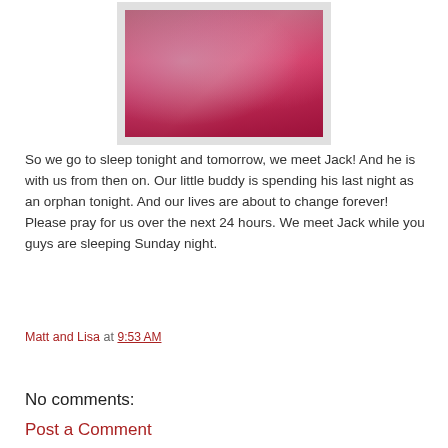[Figure (photo): Two young girls in pink clothing, leaning on each other, appearing sleepy or resting]
So we go to sleep tonight and tomorrow, we meet Jack!  And he is with us from then on.  Our little buddy is spending his last night as an orphan tonight.  And our lives are about to change forever!  Please pray for us over the next 24 hours.  We meet Jack while you guys are sleeping Sunday night.
Matt and Lisa at 9:53 AM
Share
No comments:
Post a Comment